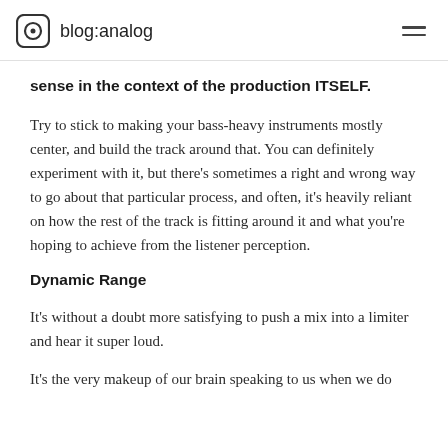blog:analog
sense in the context of the production ITSELF.
Try to stick to making your bass-heavy instruments mostly center, and build the track around that. You can definitely experiment with it, but there's sometimes a right and wrong way to go about that particular process, and often, it's heavily reliant on how the rest of the track is fitting around it and what you're hoping to achieve from the listener perception.
Dynamic Range
It's without a doubt more satisfying to push a mix into a limiter and hear it super loud.
It's the very makeup of our brain speaking to us when we do